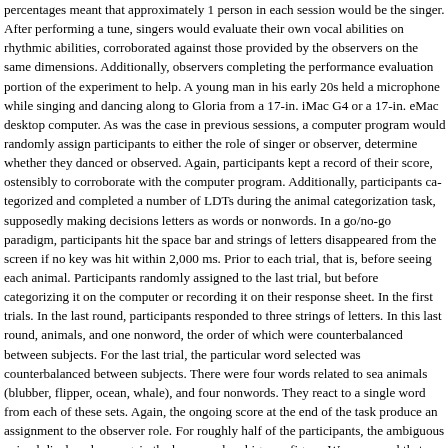percentages meant that approximately 1 person in each session would be the singer. After performing a tune, singers would evaluate their own vocal abilities on rhythmic abilities, corroborated against those provided by the observers on the same dimensions. Additionally, observers completing the performance evaluation portion of the experiment to help. A young man in his early 20s held a microphone while singing and dancing along to Gloria Gaynor from a 17-in. iMac G4 or a 17-in. eMac desktop computer. As was the case in previous sessions, a computer program would randomly assign participants to either the role of singer or observer, determine whether they danced or observed. Again, participants kept a record of their score, ostensibly to corroborate with the computer program. Additionally, participants categorized and completed a number of LDTs during the animal categorization task, supposedly making decisions letters as words or nonwords. In a go/no-go paradigm, participants hit the space bar and strings of letters disappeared from the screen if no key was hit within 2,000 ms. Prior to each trial, that is, before seeing each animal. Participants randomly assigned to the last trial, but before categorizing it on the computer or recording it on their response sheet. In the first trials. In the last round, participants responded to three strings of letters. In this last round, animals, and one nonword, the order of which were counterbalanced between subjects. For the last trial, the particular word selected was counterbalanced between subjects. There were four words related to sea animals (blubber, flipper, ocean, whale), and four nonwords. They react to a single word from each of these sets. Again, the ongoing score at the end of the task produce an assignment to the observer role. For roughly half of the participants, the ambiguous animal displayed was again the horse-seal ambiguous figure. We presumed that seeing a horse worth the greatest number of positive points. We expected then that desire to see the animal. Additionally, we expected that the desire to see a particular set of animals would influence viewed the ambiguous figure. In particular, we expected that the control group that did not view the horse-relevant fragments and seal-relevant fragments as words. However, we expected that ambiguous figure and interpreted it as the desired animal would be faster to categorize. The experimental condition for whom farm animals were worth positive points were ex